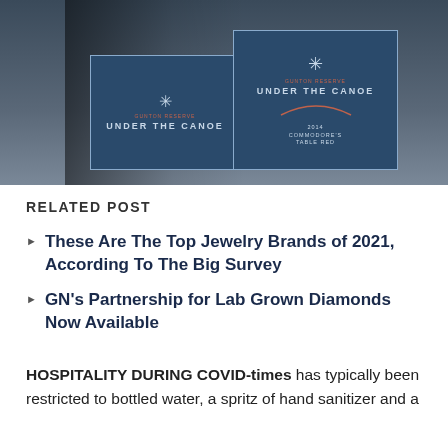[Figure (photo): Photo of wine bottles with dark blue labels reading 'UNDER THE CANOE' with compass rose design, Gunton Reserve branding]
RELATED POST
These Are The Top Jewelry Brands of 2021, According To The Big Survey
GN's Partnership for Lab Grown Diamonds Now Available
HOSPITALITY DURING COVID-times has typically been restricted to bottled water, a spritz of hand sanitizer and a